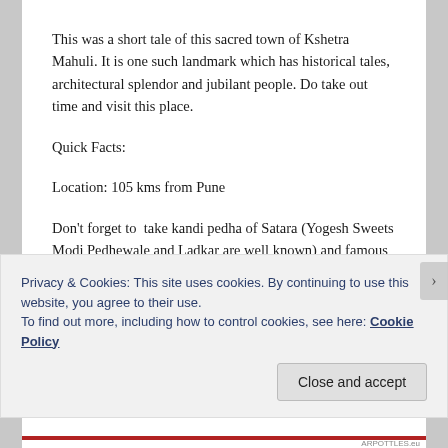This was a short tale of this sacred town of Kshetra Mahuli. It is one such landmark which has historical tales, architectural splendor and jubilant people. Do take out time and visit this place.
Quick Facts:
Location: 105 kms from Pune
Don't forget to  take kandi pedha of Satara (Yogesh Sweets Modi Pedhewale and Ladkar are well known) and famous brinjals of Krishna banks on your way back.
Privacy & Cookies: This site uses cookies. By continuing to use this website, you agree to their use.
To find out more, including how to control cookies, see here: Cookie Policy